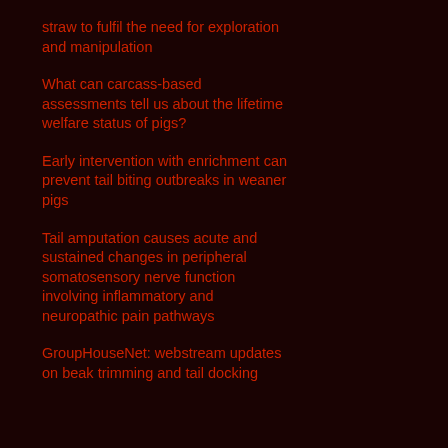straw to fulfil the need for exploration and manipulation
What can carcass-based assessments tell us about the lifetime welfare status of pigs?
Early intervention with enrichment can prevent tail biting outbreaks in weaner pigs
Tail amputation causes acute and sustained changes in peripheral somatosensory nerve function involving inflammatory and neuropathic pain pathways
GroupHouseNet: webstream updates on beak trimming and tail docking